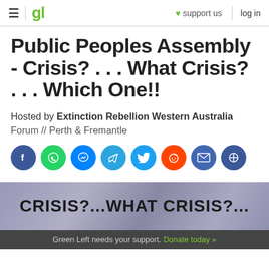gl  ♥ support us  log in
Public Peoples Assembly - Crisis? . . . What Crisis? . . . Which One!!
Hosted by Extinction Rebellion Western Australia
Forum // Perth & Fremantle
[Figure (infographic): Row of 8 social media share buttons: Facebook (blue), WhatsApp (green), Messenger (blue), Telegram (light blue), Twitter (blue), Reddit (orange), Email (blue), Copy link (blue)]
[Figure (infographic): Banner image with mottled blue-grey background showing bold black text: CRISIS?...WHAT CRISIS?...]
Green Left needs your support. Donate today »